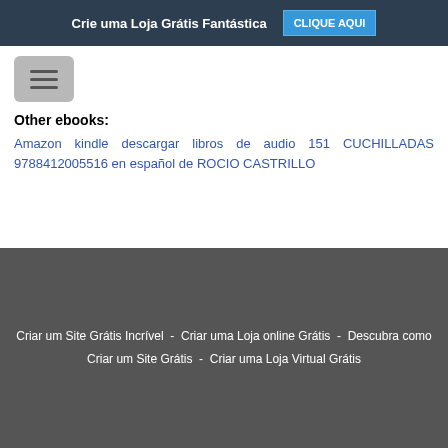Crie uma Loja Grátis Fantástica  CLIQUE AQUI
[Figure (other): Hamburger menu button icon with three horizontal lines]
Other ebooks:
Amazon kindle descargar libros de audio 151 CUCHILLADAS 9788412005516 en español de ROCIO CASTRILLO
Criar um Site Grátis Incrível  -  Criar uma Loja online Grátis  -  Descubra como Criar um Site Grátis  -  Criar uma Loja Virtual Grátis